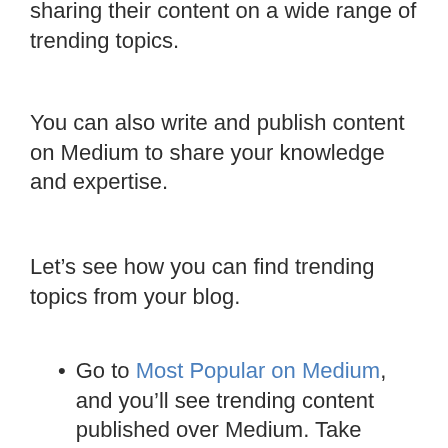sharing their content on a wide range of trending topics.
You can also write and publish content on Medium to share your knowledge and expertise.
Let’s see how you can find trending topics from your blog.
Go to Most Popular on Medium, and you’ll see trending content published over Medium. Take ideas from there and write your own in